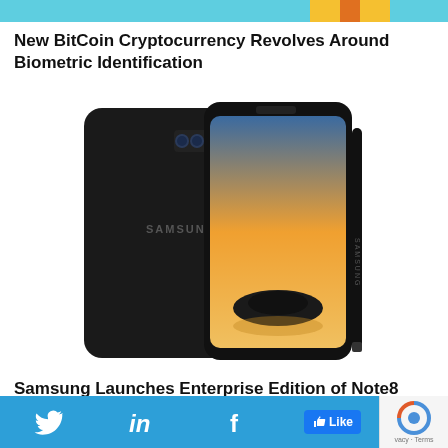[Figure (other): Top decorative banner with cyan and orange/gold colors]
New BitCoin Cryptocurrency Revolves Around Biometric Identification
[Figure (photo): Samsung Galaxy Note8 smartphone shown from front and back, with S Pen stylus, black color, displaying a scenic wallpaper of a silhouette island at sunset]
Samsung Launches Enterprise Edition of Note8 Smartphone
[Figure (other): Bottom section showing a map/location interface with orange location pin, percent sign, dark pill shape, and social sharing bar with Twitter, LinkedIn, Facebook, Like button, and reCAPTCHA]
Twitter | in | f | Like | Privacy - Terms